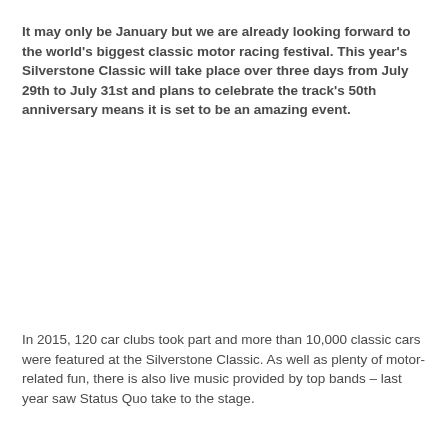It may only be January but we are already looking forward to the world's biggest classic motor racing festival. This year's Silverstone Classic will take place over three days from July 29th to July 31st and plans to celebrate the track's 50th anniversary means it is set to be an amazing event.
In 2015, 120 car clubs took part and more than 10,000 classic cars were featured at the Silverstone Classic. As well as plenty of motor-related fun, there is also live music provided by top bands – last year saw Status Quo take to the stage.